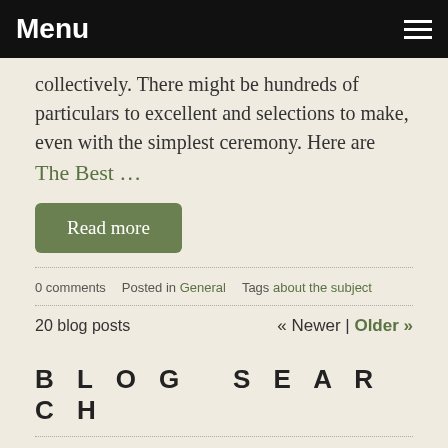Menu
collectively. There might be hundreds of particulars to excellent and selections to make, even with the simplest ceremony. Here are The Best …
Read more
0 comments   Posted in General   Tags about the subject
20 blog posts   « Newer | Older »
BLOG SEARCH
Search